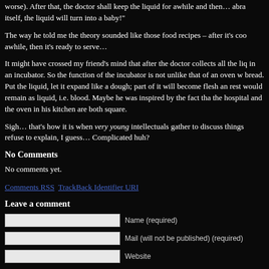worse). After that, the doctor shall keep the liquid for awhile and then… abra itself, the liquid will turn into a baby!"
The way he told me the theory sounded like those food recipes – after it's cooked awhile, then it's ready to serve…
It might have crossed my friend's mind that after the doctor collects all the liquid in an incubator. So the function of the incubator is not unlike that of an oven when baking bread. Put the liquid, let it expand like a dough; part of it will become flesh and the rest would remain as liquid, i.e. blood. Maybe he was inspired by the fact that the hospital and the oven in his kitchen are both square.
Sigh… that's how it is when very young intellectuals gather to discuss things they refuse to explain, I guess… Complicated huh?
No Comments
No comments yet.
Comments RSS  TrackBack Identifier URI
Leave a comment
Name (required)
Mail (will not be published) (required)
Website